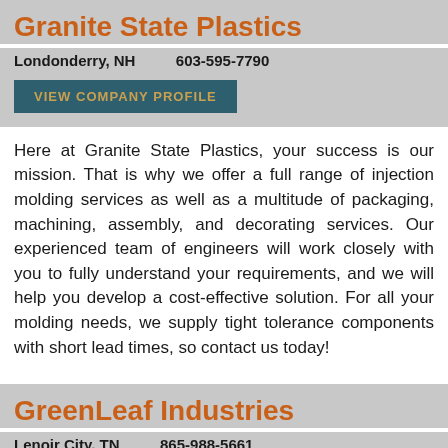Granite State Plastics
Londonderry, NH    603-595-7790
VIEW COMPANY PROFILE
Here at Granite State Plastics, your success is our mission. That is why we offer a full range of injection molding services as well as a multitude of packaging, machining, assembly, and decorating services. Our experienced team of engineers will work closely with you to fully understand your requirements, and we will help you develop a cost-effective solution. For all your molding needs, we supply tight tolerance components with short lead times, so contact us today!
GreenLeaf Industries
Lenoir City, TN    865-988-5661
VIEW COMPANY PROFILE
At GreenLeaf Industries, we offer unmatched overall value in every aspect of your project. Custom injection molding is our specialty, and we are one of the few companies in the world